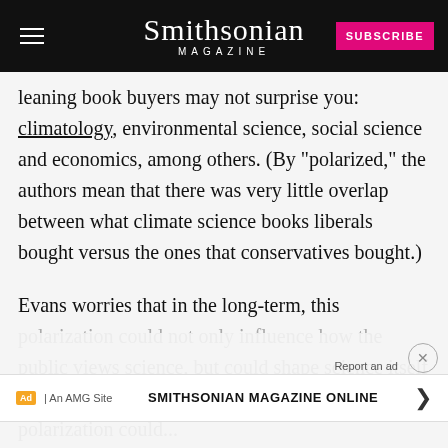Smithsonian MAGAZINE — SUBSCRIBE
leaning book buyers may not surprise you: climatology, environmental science, social science and economics, among others. (By "polarized," the authors mean that there was very little overlap between what climate science books liberals bought versus the ones that conservatives bought.)
Evans worries that in the long-term, this polarization could not only influence how the public views science, but could shape science itself for the worse. "The concern is that this kind of polarization could..."